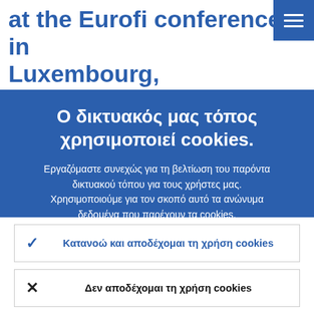at the Eurofi conference in Luxembourg,
Ο δικτυακός μας τόπος χρησιμοποιεί cookies.
Εργαζόμαστε συνεχώς για τη βελτίωση του παρόντα δικτυακού τόπου για τους χρήστες μας. Χρησιμοποιούμε για τον σκοπό αυτό τα ανώνυμα δεδομένα που παρέχουν τα cookies.
Μάθετε περισσότερα για τον τρόπο χρήσης των cookies.
✓ Κατανοώ και αποδέχομαι τη χρήση cookies
✗ Δεν αποδέχομαι τη χρήση cookies